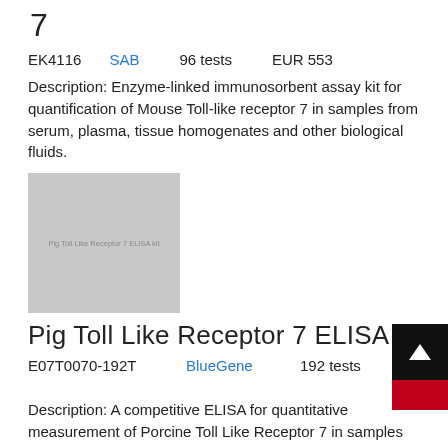7
EK4116   SAB   96 tests   EUR 553
Description: Enzyme-linked immunosorbent assay kit for quantification of Mouse Toll-like receptor 7 in samples from serum, plasma, tissue homogenates and other biological fluids.
[Figure (photo): Product image placeholder for Pig Toll Like Receptor 7 ELISA kit, gray rectangle with small label text]
Pig Toll Like Receptor 7 ELISA kit
E07T0070-192T   BlueGene   192 tests   EUR 1200
Description: A competitive ELISA for quantitative measurement of Porcine Toll Like Receptor 7 in samples from blood, plasma, serum, cell culture supernatant and